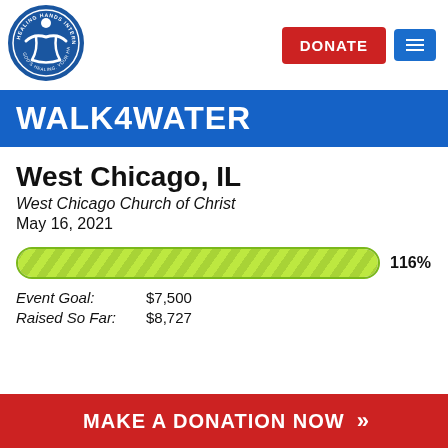[Figure (logo): Healing Hands International circular logo with blue background, white hands and figure, text 'HEALING HANDS INTERNATIONAL' and 'GOD'S HEALING. YOUR HANDS.']
WALK4WATER
West Chicago, IL
West Chicago Church of Christ
May 16, 2021
[Figure (infographic): Green striped progress bar showing 116% completion]
Event Goal: $7,500
Raised So Far: $8,727
MAKE A DONATION NOW